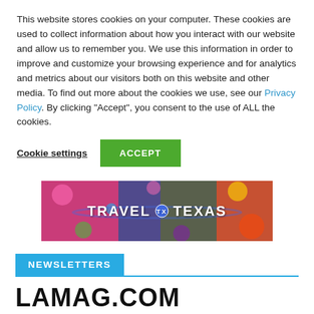This website stores cookies on your computer. These cookies are used to collect information about how you interact with our website and allow us to remember you. We use this information in order to improve and customize your browsing experience and for analytics and metrics about our visitors both on this website and other media. To find out more about the cookies we use, see our Privacy Policy. By clicking "Accept", you consent to the use of ALL the cookies.
Cookie settings | ACCEPT
[Figure (photo): Travel Texas banner advertisement showing colorful traditional Mexican/Texan clothing with the text 'TRAVEL ★ TEXAS' overlaid in white bold letters]
NEWSLETTERS
LAMAG.COM